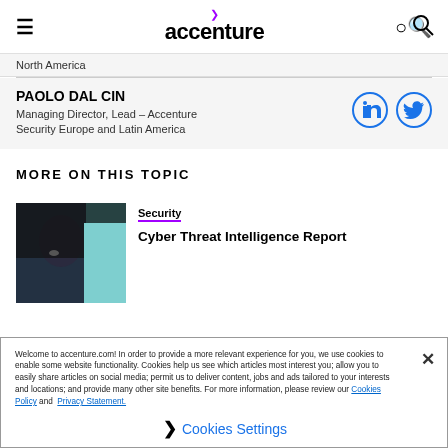Accenture
North America
PAOLO DAL CIN
Managing Director, Lead – Accenture Security Europe and Latin America
MORE ON THIS TOPIC
[Figure (photo): Photo of a person with dark hair against a teal/blue background]
Security
Cyber Threat Intelligence Report
Welcome to accenture.com! In order to provide a more relevant experience for you, we use cookies to enable some website functionality. Cookies help us see which articles most interest you; allow you to easily share articles on social media; permit us to deliver content, jobs and ads tailored to your interests and locations; and provide many other site benefits. For more information, please review our Cookies Policy and Privacy Statement.

❯ Cookies Settings